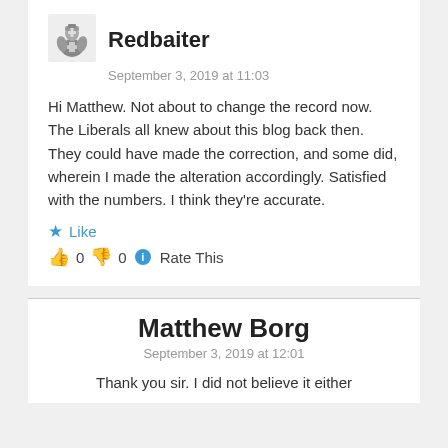[Figure (illustration): Avatar icon of a crusader/knight figure in black and white]
Redbaiter
September 3, 2019 at 11:03
Hi Matthew. Not about to change the record now. The Liberals all knew about this blog back then. They could have made the correction, and some did, wherein I made the alteration accordingly. Satisfied with the numbers. I think they're accurate.
★ Like
👍 0 👎 0 ℹ Rate This
Matthew Borg
September 3, 2019 at 12:01
Thank you sir. I did not believe it either